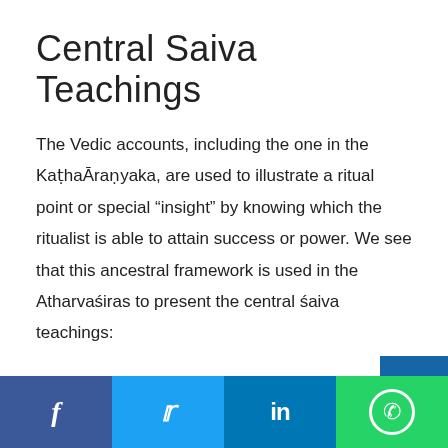Central Saiva Teachings
The Vedic accounts, including the one in the KaṭhaĀraṇyaka, are used to illustrate a ritual point or special “insight” by knowing which the ritualist is able to attain success or power. We see that this ancestral framework is used in the Atharvaśiras to present the central śaiva teachings:
1) The primacy of Rudra
Facebook | Twitter | LinkedIn | WhatsApp